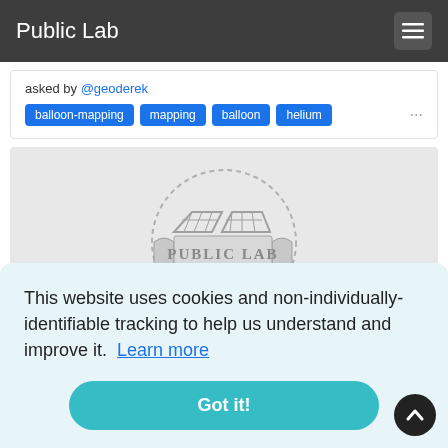Public Lab
asked by @geoderek
balloon-mapping  mapping  balloon  helium
[Figure (logo): Public Lab logo — two trapezoidal balloon baskets over a scroll banner reading PUBLIC LAB, inside a dashed circle, on a light grey background]
This website uses cookies and non-individually-identifiable tracking to help us understand and improve it. Learn more
Got it!
asked by @aianna